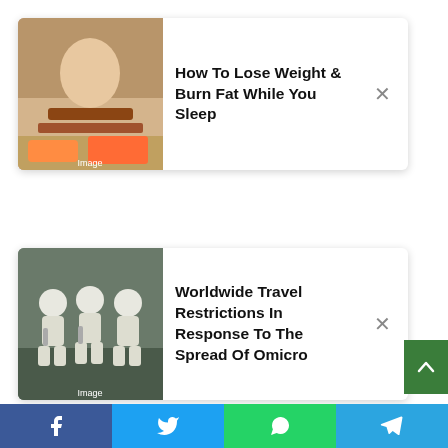[Figure (screenshot): Ad card 1: thumbnail image of food/person on left, bold title text 'How To Lose Weight & Burn Fat While You Sleep', close X button on right]
[Figure (screenshot): Ad card 2: thumbnail image of people in hazmat suits, bold title text 'Worldwide Travel Restrictions In Response To The Spread Of Omicro', close X button on right]
tattoos are permanent — but the asking price for hiding a body ink legend is certainly subject to change.
Famed tattoo artist and makeup mogul Kat Von D has saved $2.5 million from the 12,500-square-foot Los Angeles home, which she listed for a cool $15 million this year. That means the three-story Victorian building — which was also featured in the 2003 film Cheaper by the Dozen — is asking for $12.5 million, a listing representative told The Post.
[Figure (screenshot): Social share bar at bottom with Facebook, Twitter, WhatsApp, and Telegram buttons]